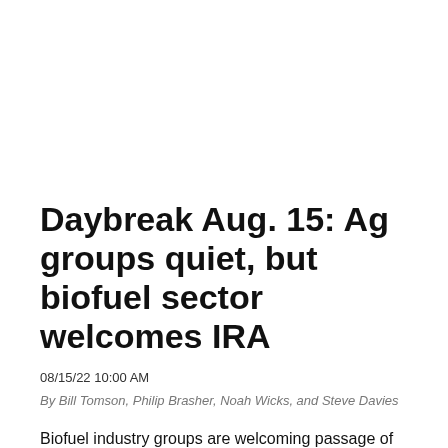Daybreak Aug. 15: Ag groups quiet, but biofuel sector welcomes IRA
08/15/22 10:00 AM
By Bill Tomson, Philip Brasher, Noah Wicks, and Steve Davies
Biofuel industry groups are welcoming passage of the Inflation Reduction Act, the historic package of nearly $370 billion in climate-related funding.